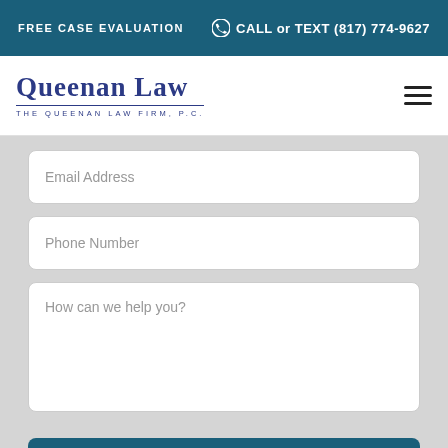FREE CASE EVALUATION | CALL or TEXT (817) 774-9627
[Figure (logo): Queenan Law – The Queenan Law Firm, P.C. logo with navy blue serif wordmark and horizontal rule]
Email Address
Phone Number
How can we help you?
SEND A MESSAGE